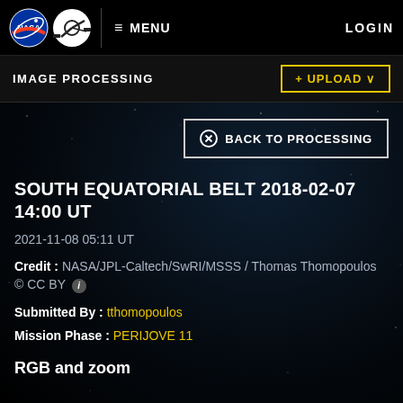MENU  LOGIN
IMAGE PROCESSING
+ UPLOAD
⊗ BACK TO PROCESSING
SOUTH EQUATORIAL BELT 2018-02-07 14:00 UT
2021-11-08 05:11 UT
Credit : NASA/JPL-Caltech/SwRI/MSSS / Thomas Thomopoulos © CC BY ℹ
Submitted By : tthomopoulos
Mission Phase : PERIJOVE 11
RGB and zoom